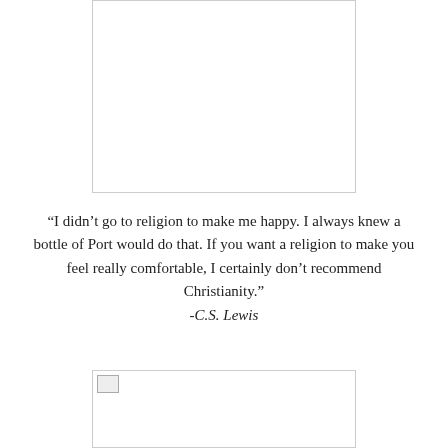[Figure (other): Empty white box with border at top of page]
“I didn’t go to religion to make me happy. I always knew a bottle of Port would do that. If you want a religion to make you feel really comfortable, I certainly don’t recommend Christianity.”
-C.S. Lewis
[Figure (other): Box with broken image icon at bottom of page]